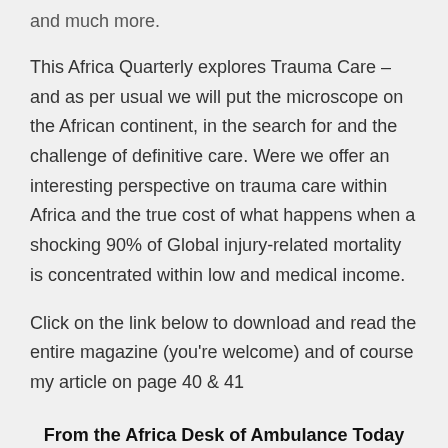and much more.
This Africa Quarterly explores Trauma Care – and as per usual we will put the microscope on the African continent, in the search for and the challenge of definitive care. Were we offer an interesting perspective on trauma care within Africa and the true cost of what happens when a shocking 90% of Global injury-related mortality is concentrated within low and medical income.
Click on the link below to download and read the entire magazine (you’re welcome) and of course my article on page 40 & 41
From the Africa Desk of Ambulance Today – Trauma Care in Africa – the Challenge of